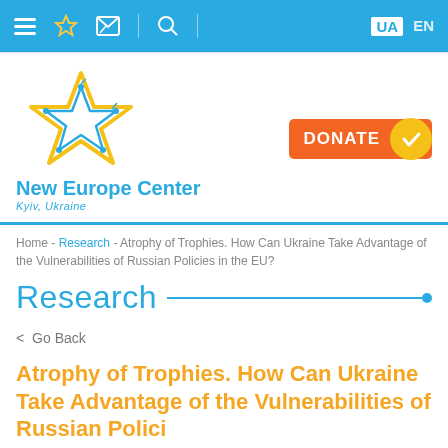Navigation bar with hamburger menu, star, envelope, search icons, UA EN language switch
[Figure (logo): New Europe Center logo — star outline in gold and blue with circuit-board style nodes, text 'New Europe Center' in blue, 'Kyiv, Ukraine' in blue italic below]
Home - Research - Atrophy of Trophies. How Can Ukraine Take Advantage of the Vulnerabilities of Russian Policies in the EU?
Research
< Go Back
Atrophy of Trophies. How Can Ukraine Take Advantage of the Vulnerabilities of Russian Polici